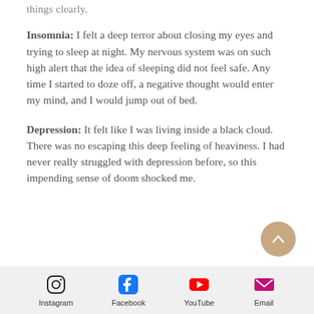things clearly.
Insomnia: I felt a deep terror about closing my eyes and trying to sleep at night. My nervous system was on such high alert that the idea of sleeping did not feel safe. Any time I started to doze off, a negative thought would enter my mind, and I would jump out of bed.
Depression: It felt like I was living inside a black cloud. There was no escaping this deep feeling of heaviness. I had never really struggled with depression before, so this impending sense of doom shocked me.
Instagram  Facebook  YouTube  Email